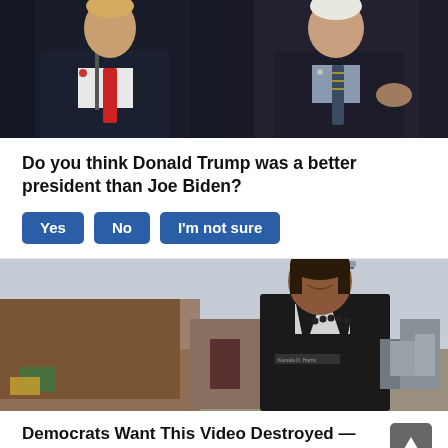[Figure (photo): Two side-by-side photos: left shows Donald Trump at a microphone wearing a red tie, right shows Joe Biden in a dark suit with striped tie]
Do you think Donald Trump was a better president than Joe Biden?
Yes | No | I'm not sure
[Figure (photo): Kamala Harris smiling outdoors at what appears to be a border or industrial facility, wearing a black jacket labeled 'Kamala D. Harris']
Democrats Want This Video Destroyed — Watch Now Before It's Banned